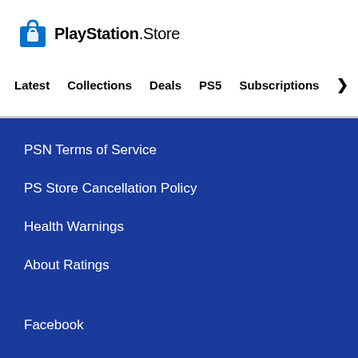PlayStation.Store
Latest
Collections
Deals
PS5
Subscriptions
PSN Terms of Service
PS Store Cancellation Policy
Health Warnings
About Ratings
Facebook
Twitter
YouTube